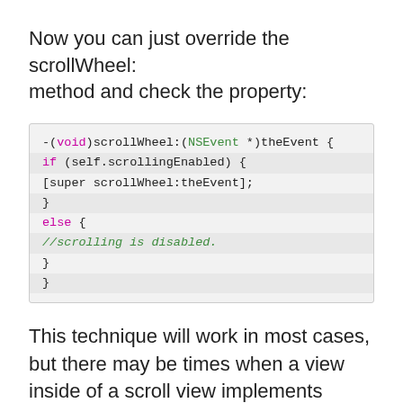Now you can just override the scrollWheel: method and check the property:
This technique will work in most cases, but there may be times when a view inside of a scroll view implements autoscrolling behavior (perhaps if the view is a dragging destination). If you need to temporarily disable scrolling in such a case, you should